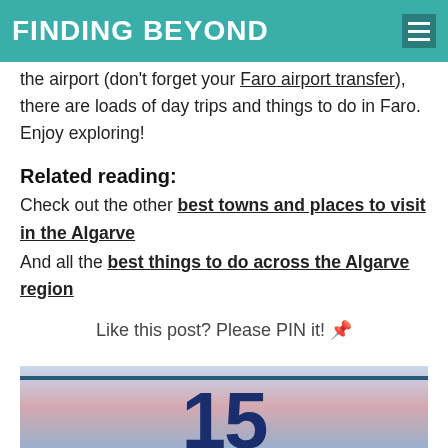FINDING BEYOND
the airport (don't forget your Faro airport transfer), there are loads of day trips and things to do in Faro. Enjoy exploring!
Related reading:
Check out the other best towns and places to visit in the Algarve
And all the best things to do across the Algarve region
Like this post? Please PIN it! 📌
[Figure (photo): Partial image showing number 15 in large dark blue text against a sky/dusk background, cropped at page bottom]